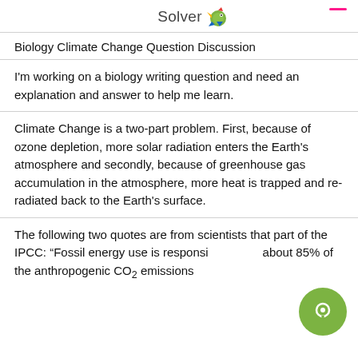Solver
Biology Climate Change Question Discussion
I'm working on a biology writing question and need an explanation and answer to help me learn.
Climate Change is a two-part problem. First, because of ozone depletion, more solar radiation enters the Earth's atmosphere and secondly, because of greenhouse gas accumulation in the atmosphere, more heat is trapped and re-radiated back to the Earth's surface.
The following two quotes are from scientists that part of the IPCC: "Fossil energy use is responsible about 85% of the anthropogenic CO₂ emissions